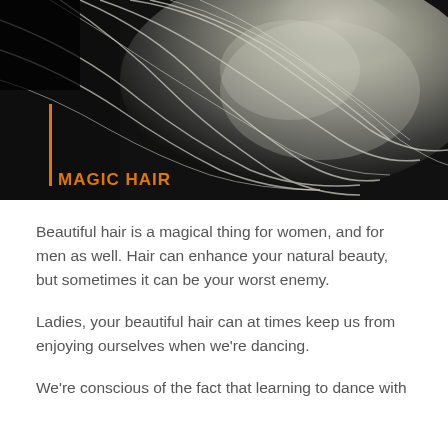[Figure (photo): Black and white close-up photo of a woman with long flowing hair blowing across her face. The image has high contrast with light hair against a dark background. An orange vertical bar and the text 'MAGIC HAIR' in orange are overlaid on the lower-left of the image.]
Beautiful hair is a magical thing for women, and for men as well. Hair can enhance your natural beauty, but sometimes it can be your worst enemy.
Ladies, your beautiful hair can at times keep us from enjoying ourselves when we're dancing.
We're conscious of the fact that learning to dance with